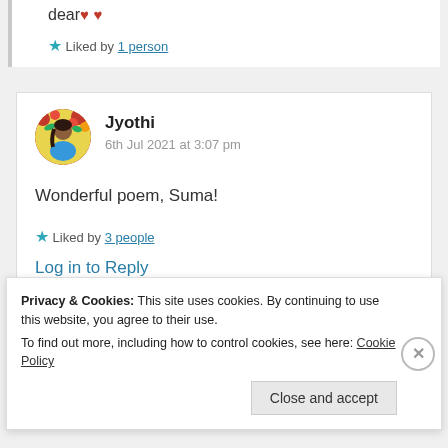dear❤️❤️
★ Liked by 1 person
Jyothi
6th Jul 2021 at 3:07 pm
Wonderful poem, Suma!
★ Liked by 3 people
Log in to Reply
Privacy & Cookies: This site uses cookies. By continuing to use this website, you agree to their use.
To find out more, including how to control cookies, see here: Cookie Policy
Close and accept